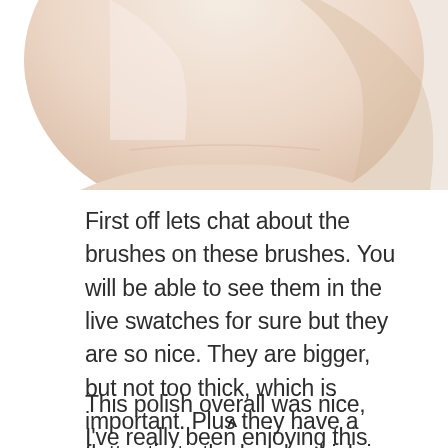[Figure (photo): Close-up photo of a person's hand/wrist with light skin tone, cropped at the top of the page]
First off lets chat about the brushes on these brushes. You will be able to see them in the live swatches for sure but they are so nice. They are bigger, but not too thick, which is important. Plus they have a flatter tip to the brush which is nice for a clean cuticle line.
This polish overall was nice, I've really been enjoying this shade of